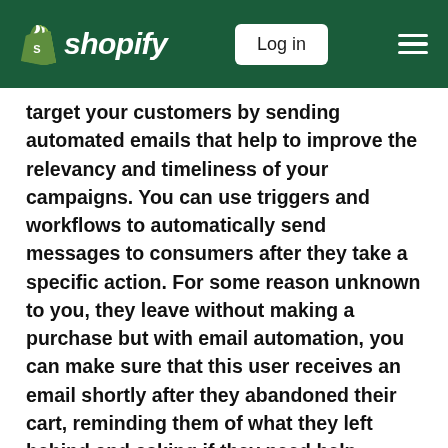shopify | Log in
target your customers by sending automated emails that help to improve the relevancy and timeliness of your campaigns. You can use triggers and workflows to automatically send messages to consumers after they take a specific action. For some reason unknown to you, they leave without making a purchase but with email automation, you can make sure that this user receives an email shortly after they abandoned their cart, reminding them of what they left behind and asking if they need help completing their purchase. In this case, email marketing automation turns a missed opportunity into an opportunity to build a stronger relationship and make a sale. You can send them an in-email review form to collect more reviews. It can